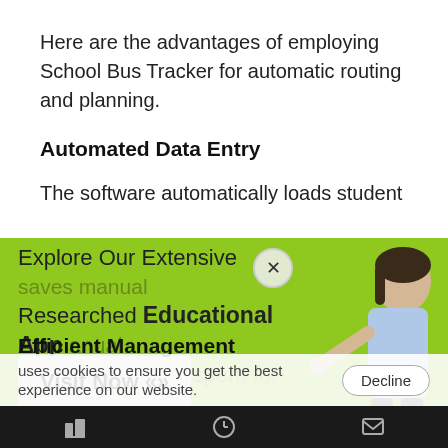Here are the advantages of employing School Bus Tracker for automatic routing and planning.
Automated Data Entry
The software automatically loads student data, saves manual entry, and the time spent for manual effort is minimized.
[Figure (infographic): Green overlay advertisement banner reading 'Explore Our Extensive Researched Educational App Directory' with a Visit Now button and a person image on the right]
uses cookies to ensure you get the best experience on our website.
Efficient Management
Bottom navigation bar with icons